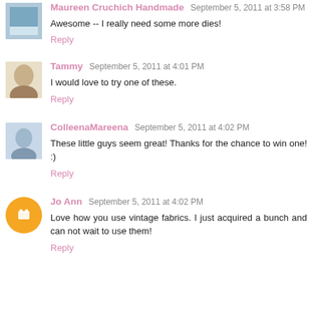Maureen Cruchich Handmade September 5, 2011 at 3:58 PM
Awesome -- I really need some more dies!
Reply
Tammy September 5, 2011 at 4:01 PM
I would love to try one of these.
Reply
ColleenaMareena September 5, 2011 at 4:02 PM
These little guys seem great! Thanks for the chance to win one! :)
Reply
Jo Ann September 5, 2011 at 4:02 PM
Love how you use vintage fabrics. I just acquired a bunch and can not wait to use them!
Reply